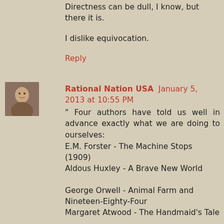Directness can be dull, I know, but there it is.
I dislike equivocation.
Reply
[Figure (photo): Small avatar photo of a person]
Rational Nation USA  January 5, 2013 at 10:55 PM
" Four authors have told us well in advance exactly what we are doing to ourselves:
E.M. Forster - The Machine Stops (1909)
Aldous Huxley - A Brave New World
George Orwell - Animal Farm and Nineteen-Eighty-Four
Margaret Atwood - The Handmaid's Tale
I find it highly ironic that these authors all considered themselves creatures of the left,..."
To this list of writer that considered themselves from the left